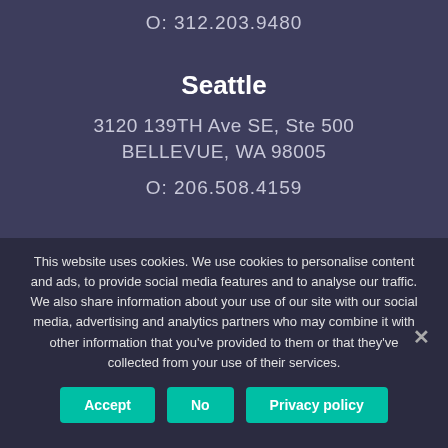O: 312.203.9480
Seattle
3120 139TH Ave SE, Ste 500
BELLEVUE, WA 98005
O: 206.508.4159
This website uses cookies. We use cookies to personalise content and ads, to provide social media features and to analyse our traffic. We also share information about your use of our site with our social media, advertising and analytics partners who may combine it with other information that you've provided to them or that they've collected from your use of their services.
Accept | No | Privacy policy